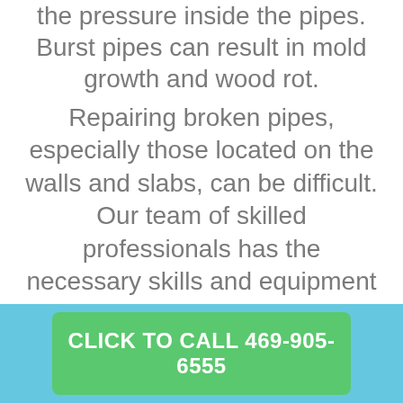the pressure inside the pipes. Burst pipes can result in mold growth and wood rot.
Repairing broken pipes, especially those located on the walls and slabs, can be difficult. Our team of skilled professionals has the necessary skills and equipment to fix your plumbing emergency. Our emergency plumbers will repair and make replacements as necessary to prevent further damage.
Call our phone number 469-905-6555
CLICK TO CALL 469-905-6555